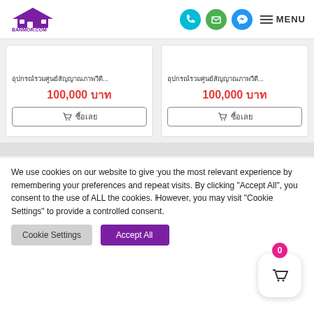[Figure (logo): Banmor.com logo with house icon and Thai text]
[Figure (infographic): Header navigation icons: phone (teal), email (green), messenger (blue), and MENU hamburger]
อุปกรณ์รวมศูนย์สัญญาณภาพวีดี... 100,000 บาท ซื้อเลย
อุปกรณ์รวมศูนย์สัญญาณภาพวีดี... 100,000 บาท ซื้อเลย
We use cookies on our website to give you the most relevant experience by remembering your preferences and repeat visits. By clicking "Accept All", you consent to the use of ALL the cookies. However, you may visit "Cookie Settings" to provide a controlled consent.
Cookie Settings
Accept All